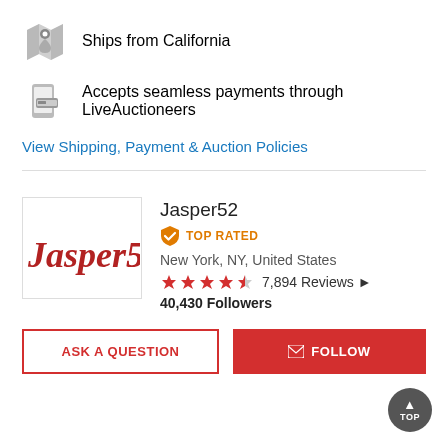Ships from California
Accepts seamless payments through LiveAuctioneers
View Shipping, Payment & Auction Policies
Jasper52
TOP RATED
New York, NY, United States
7,894 Reviews
40,430 Followers
ASK A QUESTION
FOLLOW